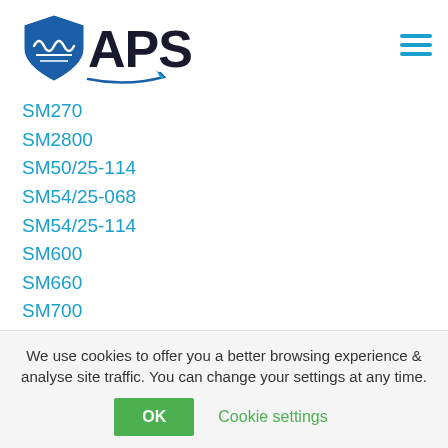[Figure (logo): APS company logo with shield icon and swoosh]
SM270
SM2800
SM50/25-114
SM54/25-068
SM54/25-114
SM600
SM660
SM700
SMc2200
SMc2800
SMD300
We use cookies to offer you a better browsing experience & analyse site traffic. You can change your settings at any time.
OK
Cookie settings